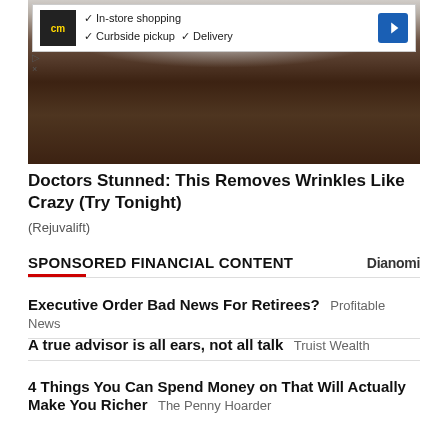[Figure (photo): Advertisement banner with CM logo showing In-store shopping, Curbside pickup, Delivery options with a blue arrow icon]
[Figure (photo): Close-up photo of a dark carbonated drink with ice crystals and bubbles on a glass rim against a light background]
Doctors Stunned: This Removes Wrinkles Like Crazy (Try Tonight)
(Rejuvalift)
SPONSORED FINANCIAL CONTENT
Executive Order Bad News For Retirees?  Profitable News
A true advisor is all ears, not all talk  Truist Wealth
4 Things You Can Spend Money on That Will Actually Make You Richer  The Penny Hoarder